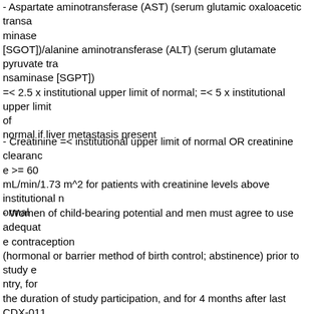- Aspartate aminotransferase (AST) (serum glutamic oxaloacetic transaminase [SGOT])/alanine aminotransferase (ALT) (serum glutamate pyruvate transaminase [SGPT]) =< 2.5 x institutional upper limit of normal; =< 5 x institutional upper limit of normal if liver metastasis present
- Creatinine =< institutional upper limit of normal OR creatinine clearance >= 60 mL/min/1.73 m^2 for patients with creatinine levels above institutional normal
- Women of child-bearing potential and men must agree to use adequate contraception (hormonal or barrier method of birth control; abstinence) prior to study entry, for the duration of study participation, and for 4 months after last CDX-011 (glembatumumab vedotin) dose; women of child-bearing potential must have a negative serum pregnancy test within 14 days prior to start of protocol treatment; should a woman become pregnant or suspect she is pregnant while she or her p